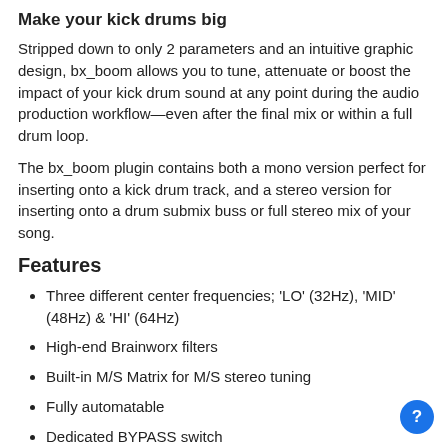Make your kick drums big
Stripped down to only 2 parameters and an intuitive graphic design, bx_boom allows you to tune, attenuate or boost the impact of your kick drum sound at any point during the audio production workflow—even after the final mix or within a full drum loop.
The bx_boom plugin contains both a mono version perfect for inserting onto a kick drum track, and a stereo version for inserting onto a drum submix buss or full stereo mix of your song.
Features
Three different center frequencies; 'LO' (32Hz), 'MID' (48Hz) & 'HI' (64Hz)
High-end Brainworx filters
Built-in M/S Matrix for M/S stereo tuning
Fully automatable
Dedicated BYPASS switch
"Mouse Over" feature: adjust parameters by holding the mouse over any knob and simply turning the mouse wheel